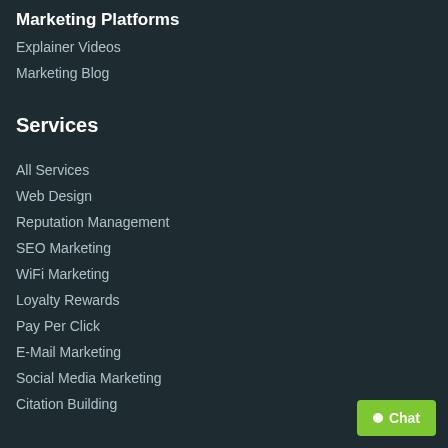Marketing Platforms
Explainer Videos
Marketing Blog
Services
All Services
Web Design
Reputation Management
SEO Marketing
WiFi Marketing
Loyalty Rewards
Pay Per Click
E-Mail Marketing
Social Media Marketing
Citation Building